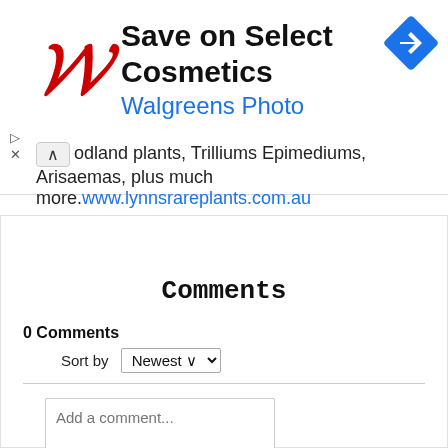[Figure (screenshot): Walgreens ad banner: Save on Select Cosmetics, Walgreens Photo with red W logo and blue diamond navigation icon]
odland plants, Trilliums Epimediums, Arisaemas, plus much more. www.lynnsrareplants.com.au
Comments
0 Comments
Sort by Newest
Add a comment...